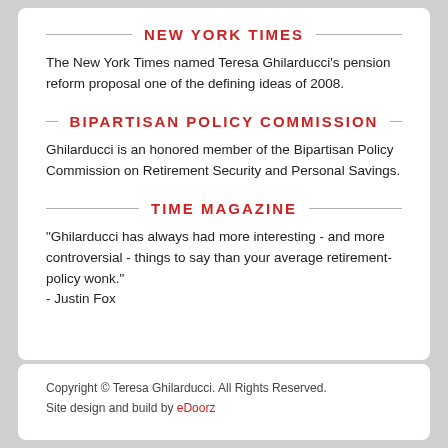NEW YORK TIMES
The New York Times named Teresa Ghilarducci's pension reform proposal one of the defining ideas of 2008.
BIPARTISAN POLICY COMMISSION
Ghilarducci is an honored member of the Bipartisan Policy Commission on Retirement Security and Personal Savings.
TIME MAGAZINE
"Ghilarducci has always had more interesting - and more controversial - things to say than your average retirement-policy wonk."
- Justin Fox
Copyright © Teresa Ghilarducci. All Rights Reserved.
Site design and build by eDoorz